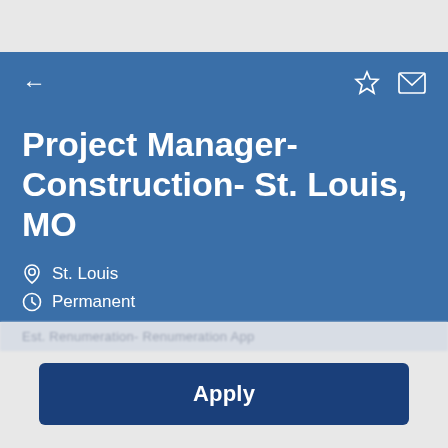Project Manager- Construction- St. Louis, MO
St. Louis
Permanent
Apply